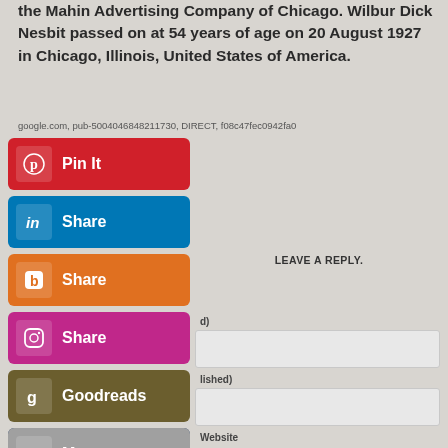the Mahin Advertising Company of Chicago. Wilbur Dick Nesbit passed on at 54 years of age on 20 August 1927 in Chicago, Illinois, United States of America.
google.com, pub-5004046848211730, DIRECT, f08c47fec0942fa0
[Figure (screenshot): Social sharing buttons: Pinterest (Pin It), LinkedIn (Share), Blogger (Share), Instagram (Share), Goodreads, Tumblr, More]
LEAVE A REPLY.
Website